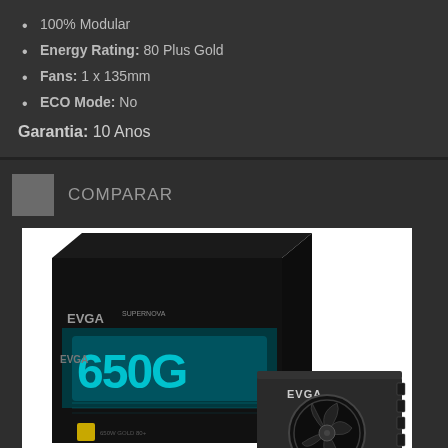100% Modular
Energy Rating: 80 Plus Gold
Fans: 1 x 135mm
ECO Mode: No
Garantia: 10 Anos
COMPARAR
[Figure (photo): EVGA SuperNOVA G2 650W 80 Plus Gold modular power supply unit shown with retail box (black box with teal/blue EVGA branding reading '650G') on the left and the actual PSU unit on the right showing the fan grill, labeled '650' on the bottom, with EVGA branding on top.]